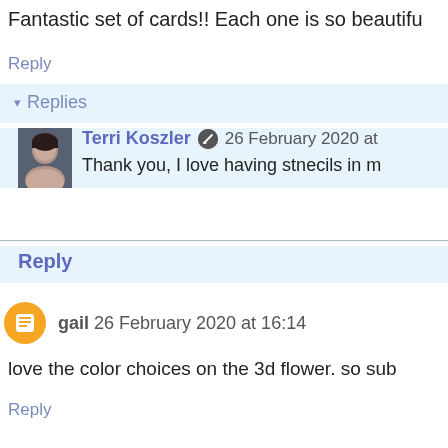Fantastic set of cards!! Each one is so beautifu
Reply
Replies
Terri Koszler 26 February 2020 at
Thank you, I love having stnecils in m
Reply
gail 26 February 2020 at 16:14
love the color choices on the 3d flower. so sub
Reply